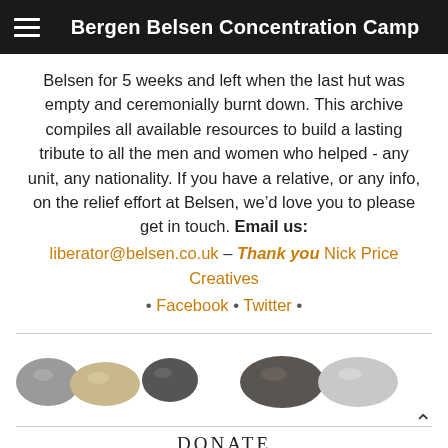Bergen Belsen Concentration Camp
Belsen for 5 weeks and left when the last hut was empty and ceremonially burnt down. This archive compiles all available resources to build a lasting tribute to all the men and women who helped - any unit, any nationality. If you have a relative, or any info, on the relief effort at Belsen, we’d love you to please get in touch. Email us:
liberator@belsen.co.uk – Thank you Nick Price Creatives
• Facebook • Twitter •
[Figure (photo): Five smooth river stones or pebbles arranged in a horizontal row: three on the left (grey, tan/beige, dark grey) and two on the right (dark brown, light grey/white)]
DONATE
[Figure (screenshot): PayPal Donate button with gold/yellow gradient background and italic bold text, followed by credit card logos (Visa, Mastercard, Amex, PayPal)]